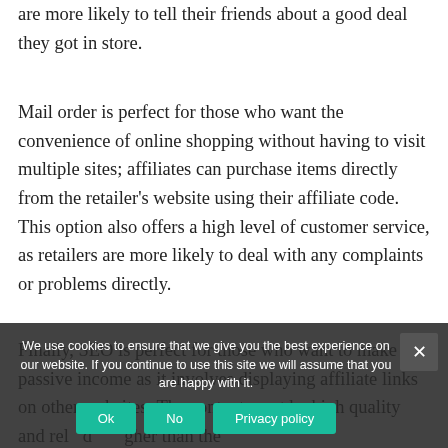are more likely to tell their friends about a good deal they got in store.
Mail order is perfect for those who want the convenience of online shopping without having to visit multiple sites; affiliates can purchase items directly from the retailer's website using their affiliate code. This option also offers a high level of customer service, as retailers are more likely to deal with any complaints or problems directly.
Finally, SEO is perfect for those who want to make a passive income as it involves displaying affiliate links on other websites. The content must be high quality and rel… d… gher than the